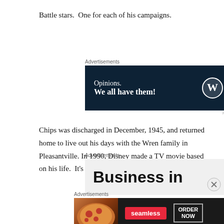Battle stars.  One for each of his campaigns.
[Figure (other): Advertisement banner: dark navy background with text 'Opinions. We all have them!' and WordPress and other logos]
Chips was discharged in December, 1945, and returned home to live out his days with the Wren family in Pleasantville. In 1990, Disney made a TV movie based on his life.  It's called "Chips, the War Dog".
[Figure (other): Advertisement: light grey background with large bold text 'Business in']
[Figure (other): Advertisement: Seamless food delivery ad with pizza image, red Seamless logo, and 'ORDER NOW' button on dark background]